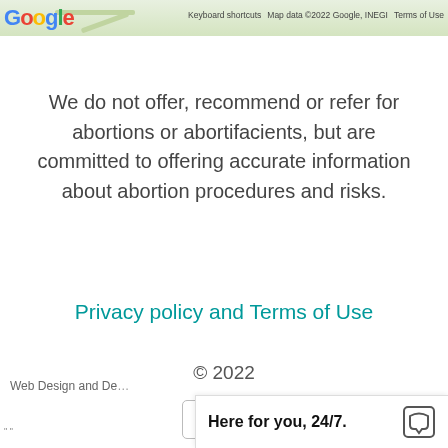Google  Keyboard shortcuts  Map data ©2022 Google, INEGI  Terms of Use
We do not offer, recommend or refer for abortions or abortifacients, but are committed to offering accurate information about abortion procedures and risks.
Privacy policy and Terms of Use
© 2022
[Figure (other): Facebook and Amazon social media icon buttons in rounded square borders]
Web Design and De...
Here for you, 24/7.